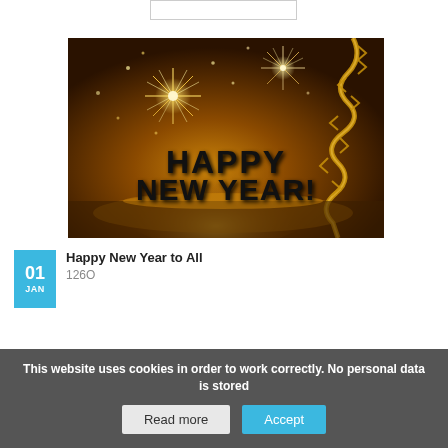[Figure (illustration): Happy New Year greeting card image with golden fireworks on dark brown background, text reading HAPPY NEW YEAR! in large bold black letters, with gold ribbon/streamer decoration on the right side.]
Happy New Year to All
1260
This website uses cookies in order to work correctly. No personal data is stored
Read more
Accept